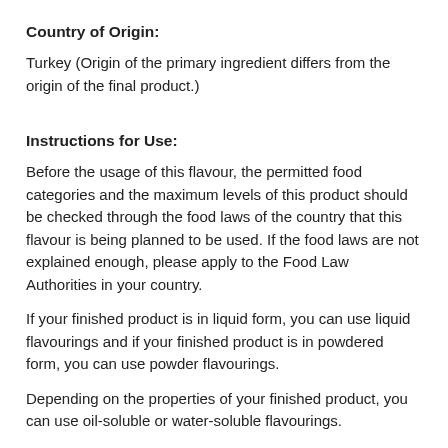Country of Origin:
Turkey (Origin of the primary ingredient differs from the origin of the final product.)
Instructions for Use:
Before the usage of this flavour, the permitted food categories and the maximum levels of this product should be checked through the food laws of the country that this flavour is being planned to be used. If the food laws are not explained enough, please apply to the Food Law Authorities in your country.
If your finished product is in liquid form, you can use liquid flavourings and if your finished product is in powdered form, you can use powder flavourings.
Depending on the properties of your finished product, you can use oil-soluble or water-soluble flavourings.